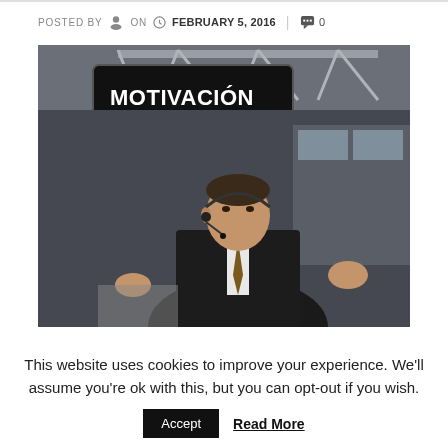POSTED BY  ON  FEBRUARY 5, 2016  |  0
[Figure (photo): A man in a dark suit wearing a headset microphone speaking at a conference. Behind him is a large screen displaying the words MOTIVACIÓN, ACTITUD, GANAS, INNOVACIÓN, A in white and orange text on a dark background. Industrial truss structure visible above.]
This website uses cookies to improve your experience. We'll assume you're ok with this, but you can opt-out if you wish.
Accept   Read More